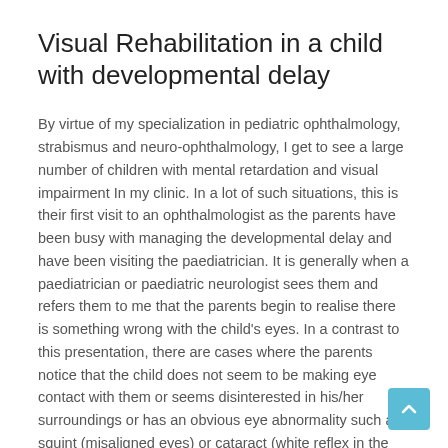Visual Rehabilitation in a child with developmental delay
By virtue of my specialization in pediatric ophthalmology, strabismus and neuro-ophthalmology, I get to see a large number of children with mental retardation and visual impairment In my clinic. In a lot of such situations, this is their first visit to an ophthalmologist as the parents have been busy with managing the developmental delay and have been visiting the paediatrician. It is generally when a paediatrician or paediatric neurologist sees them and refers them to me that the parents begin to realise there is something wrong with the child's eyes. In a contrast to this presentation, there are cases where the parents notice that the child does not seem to be making eye contact with them or seems disinterested in his/her surroundings or has an obvious eye abnormality such as squint (misaligned eyes) or cataract (white reflex in the eyes), and bring the child to me first. It is on examination that I realise there is a generalised developmental delay